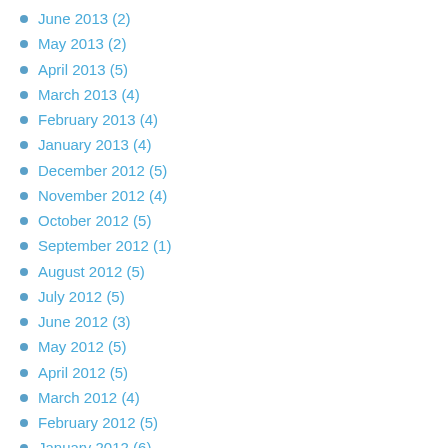June 2013 (2)
May 2013 (2)
April 2013 (5)
March 2013 (4)
February 2013 (4)
January 2013 (4)
December 2012 (5)
November 2012 (4)
October 2012 (5)
September 2012 (1)
August 2012 (5)
July 2012 (5)
June 2012 (3)
May 2012 (5)
April 2012 (5)
March 2012 (4)
February 2012 (5)
January 2012 (6)
December 2011 (4)
November 2011 (4)
October 2011 (6)
August 2011 (2)
July 2011 (3)
June 2011 (5)
May 2011 (2)
February 2011 (1)
November 2010 (1)